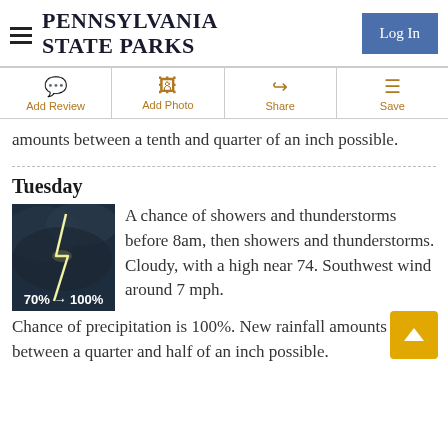PENNSYLVANIA STATE PARKS
amounts between a tenth and quarter of an inch possible.
Tuesday
[Figure (photo): Lightning strike over dark stormy sky. Label shows 70% → 100%.]
A chance of showers and thunderstorms before 8am, then showers and thunderstorms. Cloudy, with a high near 74. Southwest wind around 7 mph. Chance of precipitation is 100%. New rainfall amounts between a quarter and half of an inch possible.